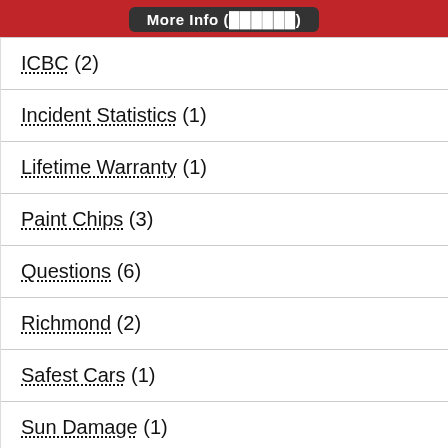More Info (██████)
ICBC (2)
Incident Statistics (1)
Lifetime Warranty (1)
Paint Chips (3)
Questions (6)
Richmond (2)
Safest Cars (1)
Sun Damage (1)
Tips (13)